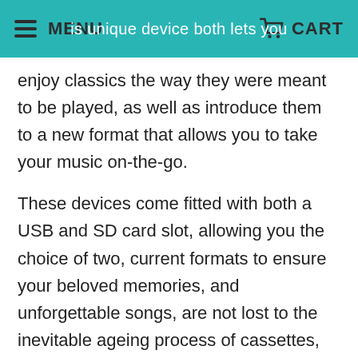MENU  ...is unique device both lets you  CART
enjoy classics the way they were meant to be played, as well as introduce them to a new format that allows you to take your music on-the-go.
These devices come fitted with both a USB and SD card slot, allowing you the choice of two, current formats to ensure your beloved memories, and unforgettable songs, are not lost to the inevitable ageing process of cassettes, CDs and vinyl. Use its simple, direct